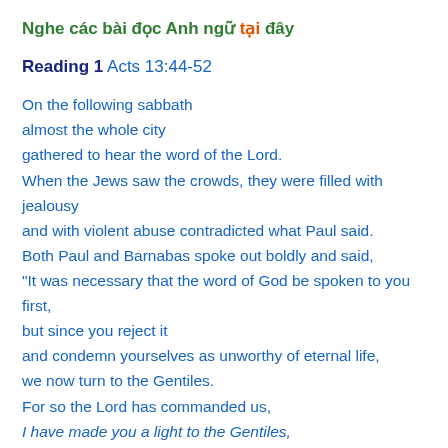Nghe các bài đọc Anh ngữ tại đây
Reading 1 Acts 13:44-52
On the following sabbath
almost the whole city
gathered to hear the word of the Lord.
When the Jews saw the crowds, they were filled with jealousy
and with violent abuse contradicted what Paul said.
Both Paul and Barnabas spoke out boldly and said,
“It was necessary that the word of God be spoken to you first,
but since you reject it
and condemn yourselves as unworthy of eternal life,
we now turn to the Gentiles.
For so the Lord has commanded us,
I have made you a light to the Gentiles,
that you may be an instrument of salvation